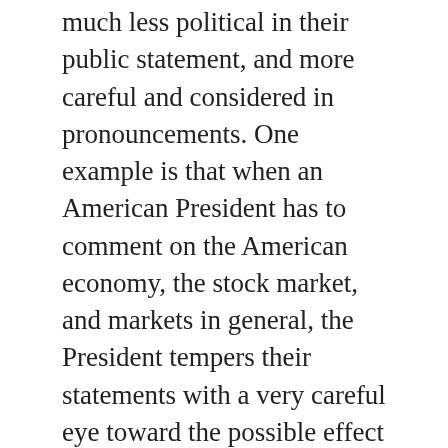much less political in their public statement, and more careful and considered in pronouncements. One example is that when an American President has to comment on the American economy, the stock market, and markets in general, the President tempers their statements with a very careful eye toward the possible effect on the nation's economy. During the still recent busts, downturns, financial crises of 1999, 2008-9, Presidents Clinton, Bush and Obama, had to hold back much terrifying truth regarding the depth and danger of those financial recessions that saw the near collapse of portions of the financial components of the nation's functioning, big banks, the housing mortgage system, the early "dot com" industries, etc. Those Presidents almost were so low key and reassuring concerning those dangerous many months that their press